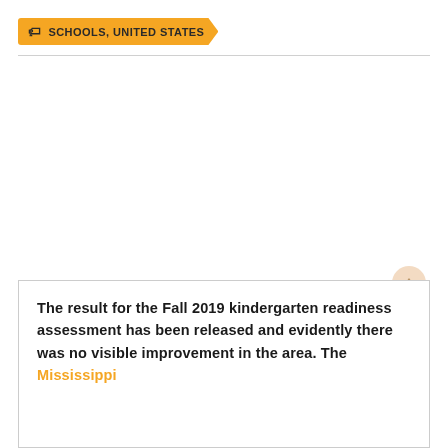SCHOOLS, UNITED STATES
The result for the Fall 2019 kindergarten readiness assessment has been released and evidently there was no visible improvement in the area. The Mississippi